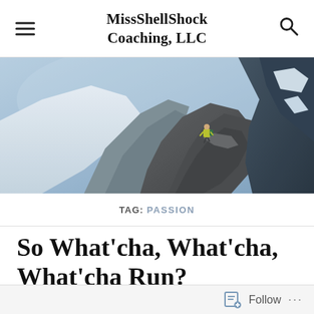MissShellShock Coaching, LLC
[Figure (photo): A hiker/trail runner in a yellow jacket stands on a rocky mountain ridge with dramatic rocky peaks and snow fields in the background under a hazy blue sky.]
TAG: PASSION
So What'cha, What'cha, What'cha Run?
Follow